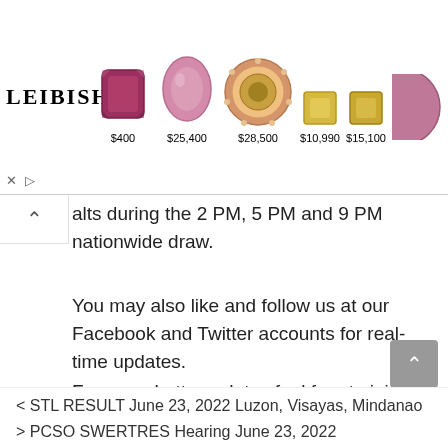[Figure (infographic): LEIBISH jewelry advertisement banner showing 5 gemstone items with prices: $400, $25,400, $28,500, $10,990, $15,100]
alts during the 2 PM, 5 PM and 9 PM nationwide draw.
You may also like and follow us at our Facebook and Twitter accounts for real-time updates.
For more Lotto updates feel free to join us on our Facebook Page
< STL RESULT June 23, 2022 Luzon, Visayas, Mindanao
> PCSO SWERTRES Hearing June 23, 2022